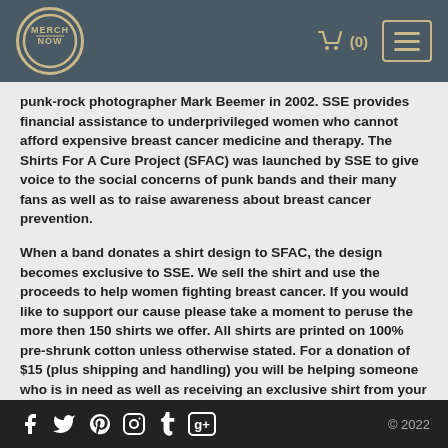MERCH NOW  🛒 (0)
punk-rock photographer Mark Beemer in 2002. SSE provides financial assistance to underprivileged women who cannot afford expensive breast cancer medicine and therapy. The Shirts For A Cure Project (SFAC) was launched by SSE to give voice to the social concerns of punk bands and their many fans as well as to raise awareness about breast cancer prevention.
When a band donates a shirt design to SFAC, the design becomes exclusive to SSE. We sell the shirt and use the proceeds to help women fighting breast cancer. If you would like to support our cause please take a moment to peruse the more then 150 shirts we offer. All shirts are printed on 100% pre-shrunk cotton unless otherwise stated. For a donation of $15 (plus shipping and handling) you will be helping someone who is in need as well as receiving an exclusive shirt from your favorite band.
Price: $15
f  twitter  pinterest  instagram  tumblr  g+  © 2022